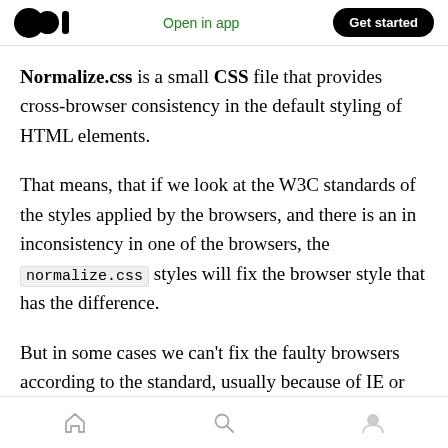Open in app | Get started
Normalize.css is a small CSS file that provides cross-browser consistency in the default styling of HTML elements.
That means, that if we look at the W3C standards of the styles applied by the browsers, and there is an in inconsistency in one of the browsers, the normalize.css styles will fix the browser style that has the difference.
But in some cases we can't fix the faulty browsers according to the standard, usually because of IE or EDGE. In these cases the fixes in the Normalize
Home | Search | Profile